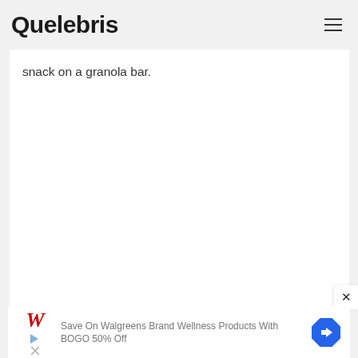Quelebris
snack on a granola bar.
[Figure (other): Close/dismiss button with X symbol]
[Figure (other): Walgreens advertisement banner: Save On Walgreens Brand Wellness Products With BOGO 50% Off]